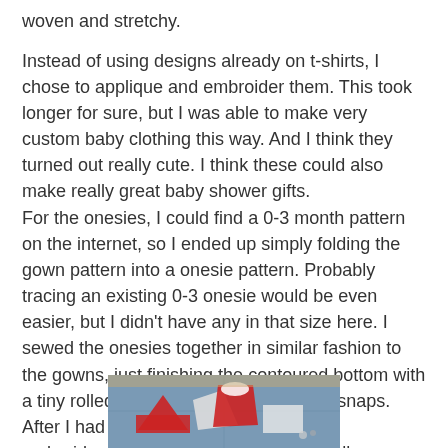woven and stretchy.
Instead of using designs already on t-shirts, I chose to applique and embroider them. This took longer for sure, but I was able to make very custom baby clothing this way. And I think they turned out really cute. I think these could also make really great baby shower gifts.
For the onesies, I could find a 0-3 month pattern on the internet, so I ended up simply folding the gown pattern into a onesie pattern. Probably tracing an existing 0-3 onesie would be even easier, but I didn't have any in that size here. I sewed the onesies together in similar fashion to the gowns, just finishing the contoured bottom with a tiny rolled hem all around and adding snaps. After I had sewed a bunch of onesies, I embroidered and appliqued these as well.
[Figure (photo): Photo of red and white fabric onesie pieces laid out on a blue foam mat on the floor, with sewing supplies nearby.]